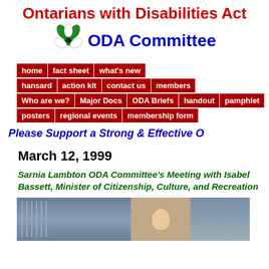Ontarians with Disabilities Act ODA Committee
[Figure (logo): ODA Committee trillium flower logo]
home | fact sheet | what's new | hansard | action kit | contact us | members | Who are we? | Major Docs | ODA Briefs | handout | pamphlet | posters | regional events | membership form
Please Support a Strong & Effective O
March 12, 1999
Sarnia Lambton ODA Committee's Meeting with Isabel Bassett, Minister of Citizenship, Culture, and Recreation
[Figure (photo): Photo strip showing meeting participants]